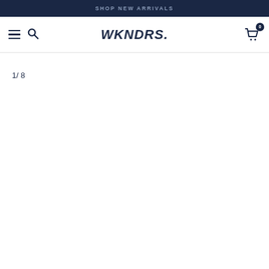SHOP NEW ARRIVALS
WKNDRS.
1/ 8